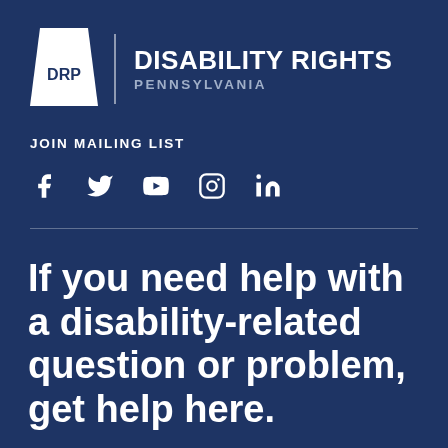[Figure (logo): Disability Rights Pennsylvania logo with keystone shape icon labeled DRP, vertical divider, and text DISABILITY RIGHTS PENNSYLVANIA]
JOIN MAILING LIST
[Figure (infographic): Social media icons: Facebook, Twitter, YouTube, Instagram, LinkedIn]
If you need help with a disability-related question or problem, get help here.